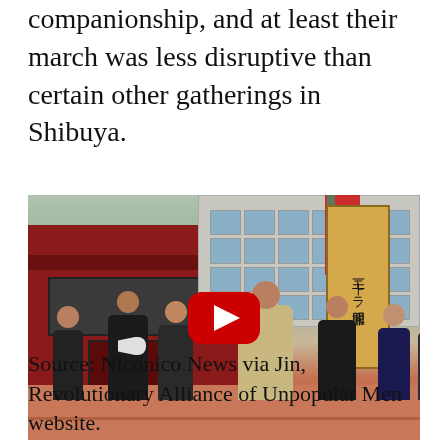companionship, and at least their march was less disruptive than certain other gatherings in Shibuya.
[Figure (photo): Street scene in Shibuya showing a group of people marching, with a man using a megaphone, a red bus in the background, city buildings, a wooden sign with Japanese characters, and a red flag. A YouTube play button overlay is visible in the center.]
Source: Niconico News via Jin, Revolutionary Alliance of Unpopular Men website.